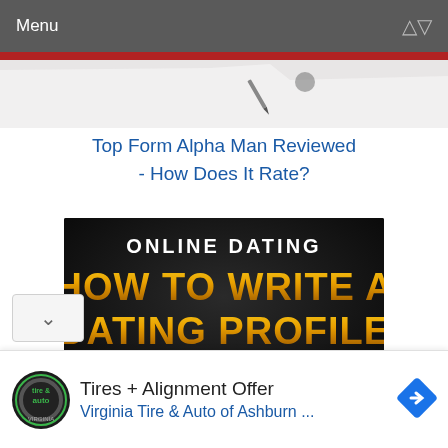Menu
Top Form Alpha Man Reviewed - How Does It Rate?
[Figure (illustration): Black promotional image with text: 'ONLINE DATING' in white at top, 'HOW TO WRITE A DATING PROFILE' in large gold/yellow letters, 'That Grabs Attention' in white/gold below, with a gold bowl visible at bottom right.]
Tires + Alignment Offer
Virginia Tire & Auto of Ashburn ...